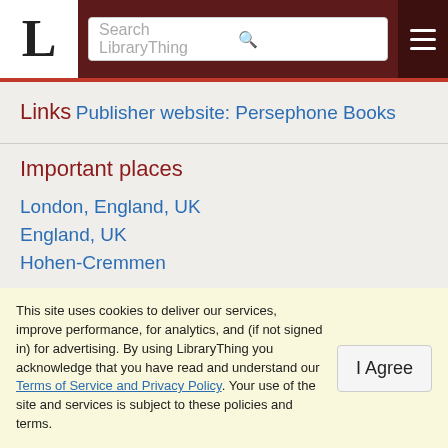LibraryThing — Search LibraryThing
Links
Publisher website: Persephone Books
Important places
London, England, UK
England, UK
Hohen-Cremmen
This site uses cookies to deliver our services, improve performance, for analytics, and (if not signed in) for advertising. By using LibraryThing you acknowledge that you have read and understand our Terms of Service and Privacy Policy. Your use of the site and services is subject to these policies and terms.